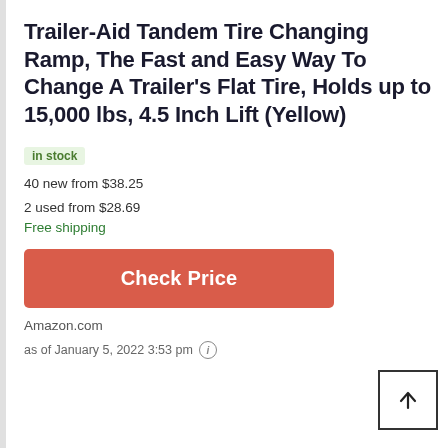Trailer-Aid Tandem Tire Changing Ramp, The Fast and Easy Way To Change A Trailer's Flat Tire, Holds up to 15,000 lbs, 4.5 Inch Lift (Yellow)
in stock
40 new from $38.25
2 used from $28.69
Free shipping
Check Price
Amazon.com
as of January 5, 2022 3:53 pm